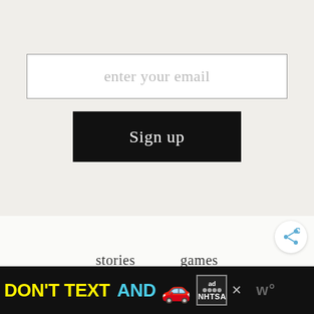enter your email
Sign up
[Figure (other): Share button icon (circular button with share arrows symbol)]
stories
games
[Figure (other): Ad banner: DON'T TEXT AND [car emoji] [ad badge] NHTSA [close X] [wordmark]]